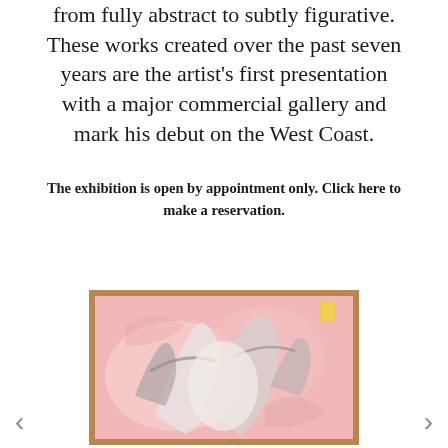from fully abstract to subtly figurative. These works created over the past seven years are the artist's first presentation with a major commercial gallery and mark his debut on the West Coast.
The exhibition is open by appointment only. Click here to make a reservation.
[Figure (photo): A painting in a wooden frame showing abstract figurative forms in pink, white, and grey tones with a yellow accent, depicting human-like figures in motion.]